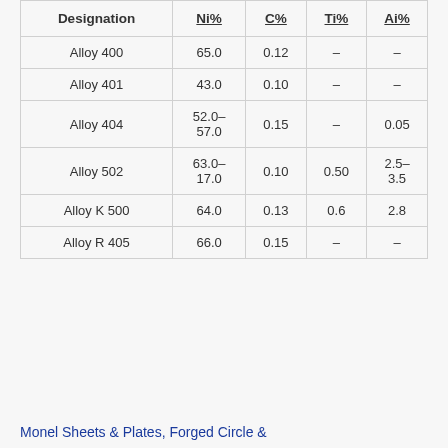| Designation | Ni% | C% | Ti% | Ai% |
| --- | --- | --- | --- | --- |
| Alloy 400 | 65.0 | 0.12 | – | – |
| Alloy 401 | 43.0 | 0.10 | – | – |
| Alloy 404 | 52.0–57.0 | 0.15 | – | 0.05 |
| Alloy 502 | 63.0–17.0 | 0.10 | 0.50 | 2.5–3.5 |
| Alloy K 500 | 64.0 | 0.13 | 0.6 | 2.8 |
| Alloy R 405 | 66.0 | 0.15 | – | – |
Monel Sheets & Plates, Forged Circle &